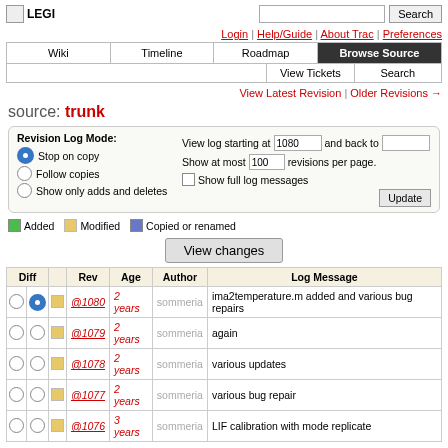LEGI
Login | Help/Guide | About Trac | Preferences
Wiki | Timeline | Roadmap | Browse Source | View Tickets | Search
View Latest Revision | Older Revisions →
source: trunk
Revision Log Mode: Stop on copy | Follow copies | Show only adds and deletes | View log starting at 1080 and back to | Show at most 100 revisions per page. | Show full log messages | Update
Added | Modified | Copied or renamed
View changes
| Diff |  | Rev | Age | Author | Log Message |
| --- | --- | --- | --- | --- | --- |
| ○● | □ | @1080 | 2 years | sommeria | ima2temperature.m added and various bug repairs |
| ○○ | □ | @1079 | 2 years | sommeria | again |
| ○○ | □ | @1078 | 2 years | sommeria | various updates |
| ○○ | □ | @1077 | 2 years | sommeria | various bug repair |
| ○○ | □ | @1076 | 3 years | sommeria | LIF calibration with mode replicate |